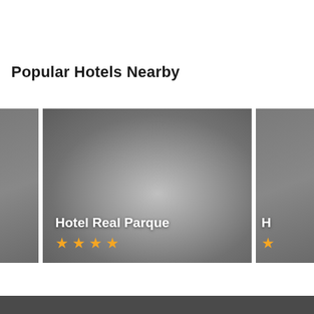Popular Hotels Nearby
[Figure (photo): Hotel card carousel showing 'Hotel Real Parque' with 4 stars rating on a grey hotel image, with partial cards visible on left and right sides]